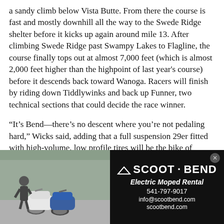a sandy climb below Vista Butte. From there the course is fast and mostly downhill all the way to the Swede Ridge shelter before it kicks up again around mile 13. After climbing Swede Ridge past Swampy Lakes to Flagline, the course finally tops out at almost 7,000 feet (which is almost 2,000 feet higher than the highpoint of last year's course) before it descends back toward Wanoga. Racers will finish by riding down Tiddlywinks and back up Funner, two technical sections that could decide the race winner.
“It's Bend—there's no descent where you're not pedaling hard,” Wicks said, adding that a full suspension 29er fitted with high-volume, low profile tires will be the bike of choice for the bumpy, pedaling-intensive.
Aside from Wicks, Craig and Carl Decker, who last
[Figure (photo): Advertisement photo showing two electric mopeds parked outside with a person standing nearby]
[Figure (infographic): Scoot Bend advertisement with black background showing brand name, Electric Moped Rental text, phone 541-797-9017, info@scootbend.com, scootbend.com]